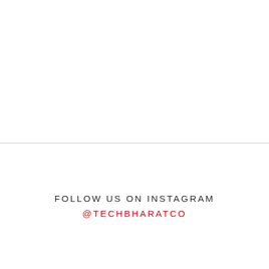FOLLOW US ON INSTAGRAM
@TECHBHARATCO